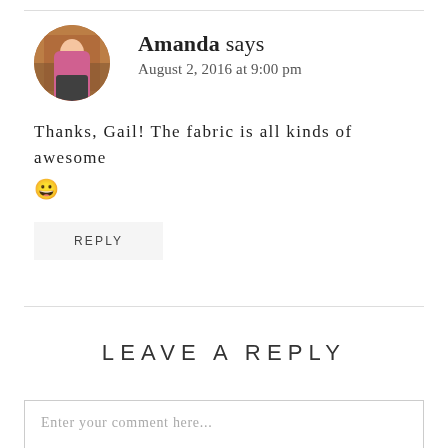Amanda says
August 2, 2016 at 9:00 pm
Thanks, Gail! The fabric is all kinds of awesome 😀
REPLY
LEAVE A REPLY
Enter your comment here...